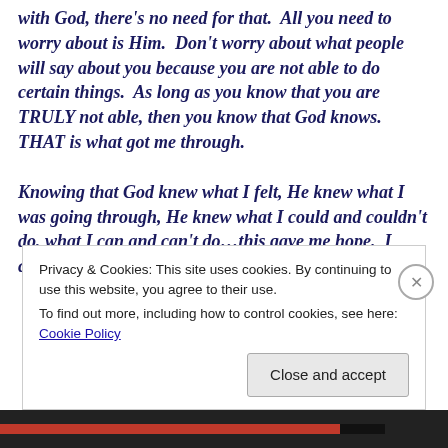with God, there's no need for that.  All you need to worry about is Him.  Don't worry about what people will say about you because you are not able to do certain things.  As long as you know that you are TRULY not able, then you know that God knows.  THAT is what got me through.

Knowing that God knew what I felt, He knew what I was going through, He knew what I could and couldn't do, what I can and can't do...this gave me hope.  I constantly talked to Him.  I constantly asked Him what
Privacy & Cookies: This site uses cookies. By continuing to use this website, you agree to their use.
To find out more, including how to control cookies, see here: Cookie Policy
[Close and accept button]